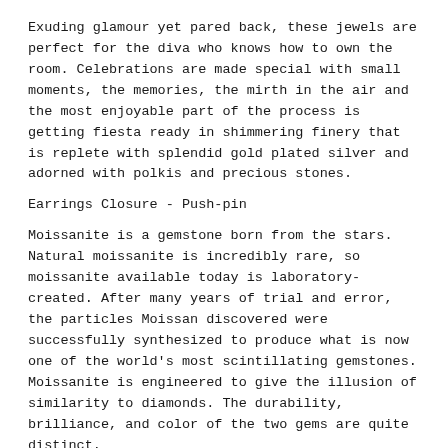Exuding glamour yet pared back, these jewels are perfect for the diva who knows how to own the room. Celebrations are made special with small moments, the memories, the mirth in the air and the most enjoyable part of the process is getting fiesta ready in shimmering finery that is replete with splendid gold plated silver and adorned with polkis and precious stones.
Earrings Closure - Push-pin
Moissanite is a gemstone born from the stars. Natural moissanite is incredibly rare, so moissanite available today is laboratory-created. After many years of trial and error, the particles Moissan discovered were successfully synthesized to produce what is now one of the world's most scintillating gemstones. Moissanite is engineered to give the illusion of similarity to diamonds. The durability, brilliance, and color of the two gems are quite distinct.
Production Time - 30-35 days
Please contact us in case of urgency to confirm immediate availability before placing an order.